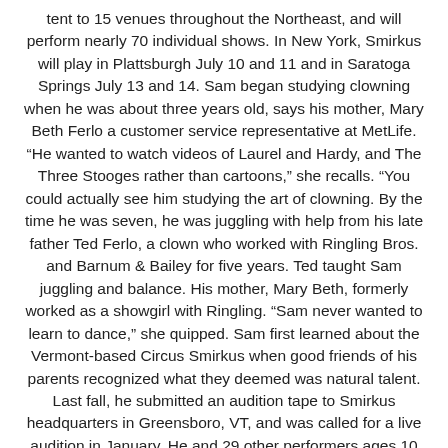tent to 15 venues throughout the Northeast, and will perform nearly 70 individual shows. In New York, Smirkus will play in Plattsburgh July 10 and 11 and in Saratoga Springs July 13 and 14. Sam began studying clowning when he was about three years old, says his mother, Mary Beth Ferlo a customer service representative at MetLife. “He wanted to watch videos of Laurel and Hardy, and The Three Stooges rather than cartoons,” she recalls. “You could actually see him studying the art of clowning. By the time he was seven, he was juggling with help from his late father Ted Ferlo, a clown who worked with Ringling Bros. and Barnum & Bailey for five years. Ted taught Sam juggling and balance. His mother, Mary Beth, formerly worked as a showgirl with Ringling. “Sam never wanted to learn to dance,” she quipped. Sam first learned about the Vermont-based Circus Smirkus when good friends of his parents recognized what they deemed was natural talent. Last fall, he submitted an audition tape to Smirkus headquarters in Greensboro, VT, and was called for a live audition in January. He and 29 other performers ages 10 to 18 were selected for the 2011 Big Top Tour. “I was very excited,” says Sam. “But mostly, I was very grateful.” Life on the road promises to be both fun and exhausting, says Sam.